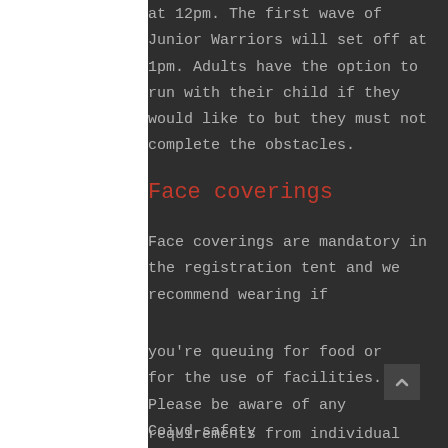at 12pm. The first wave of Junior Warriors will set off at 1pm. Adults have the option to run with their child if they would like to but they must not complete the obstacles.
Face coverings
Face coverings are mandatory in the registration tent and we recommend wearing  if
you're queuing for food or for the use of facilities.  Please be aware of any Coivd-safety
requirements from individual stall